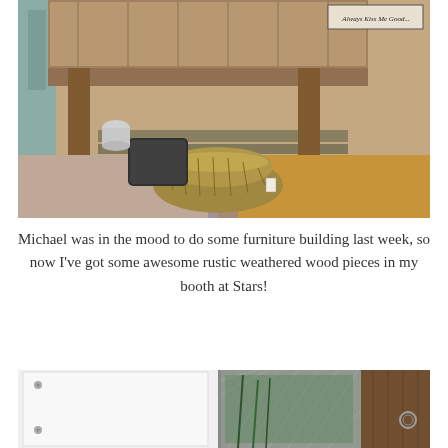[Figure (photo): Photo of rustic weathered wood furniture including a large wooden crate/table with shelf, a small teal/mint painted bench underneath, a wicker basket on the floor, and colorful painted floor. Other painted furniture visible in background.]
Michael was in the mood to do some furniture building last week, so now I've got some awesome rustic weathered wood pieces in my booth at Stars!
[Figure (photo): Photo showing a white cabinet door on the left and a decorative mirror or frame with diamond plate metal pattern in the center, and rustic wooden pieces on the right.]